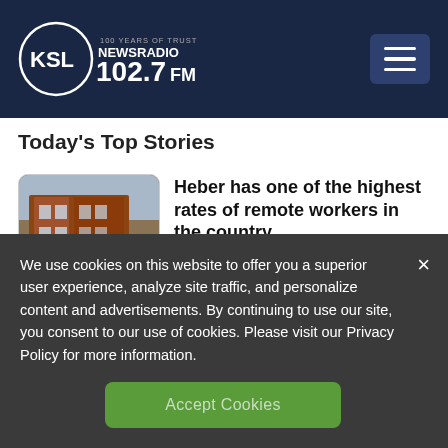[Figure (logo): KSL NewsRadio 102.7 FM logo — circle with KSL text and '100 YEARS OF TRUST' tagline, white on dark navy background]
Today's Top Stories
[Figure (photo): Thumbnail photo of a brick building street scene with a car parked outside]
Heber has one of the highest rates of remote workers in the country
[Figure (photo): Partial thumbnail of a person, partially visible]
US clears updated COVID
We use cookies on this website to offer you a superior user experience, analyze site traffic, and personalize content and advertisements. By continuing to use our site, you consent to our use of cookies. Please visit our Privacy Policy for more information.
Accept Cookies